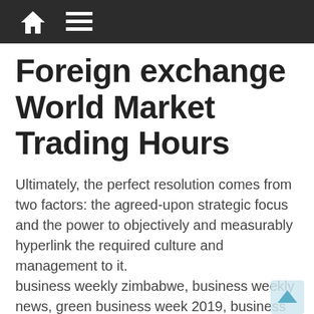Foreign exchange World Market Trading Hours
Ultimately, the perfect resolution comes from two factors: the agreed-upon strategic focus and the power to objectively and measurably hyperlink the required culture and management to it.
business weekly zimbabwe, business weekly news, green business week 2019, business weekly magazine taiwan, business weeks calendar
World Satellite Business Week